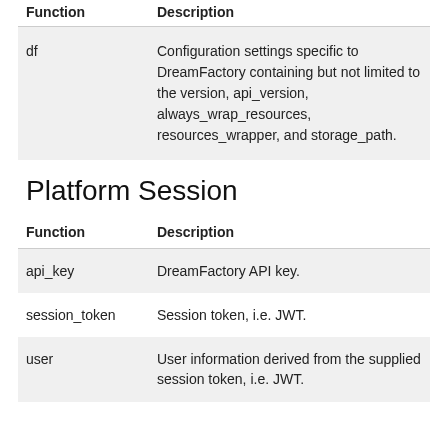| Function | Description |
| --- | --- |
| df | Configuration settings specific to DreamFactory containing but not limited to the version, api_version, always_wrap_resources, resources_wrapper, and storage_path. |
Platform Session
| Function | Description |
| --- | --- |
| api_key | DreamFactory API key. |
| session_token | Session token, i.e. JWT. |
| user | User information derived from the supplied session token, i.e. JWT. |